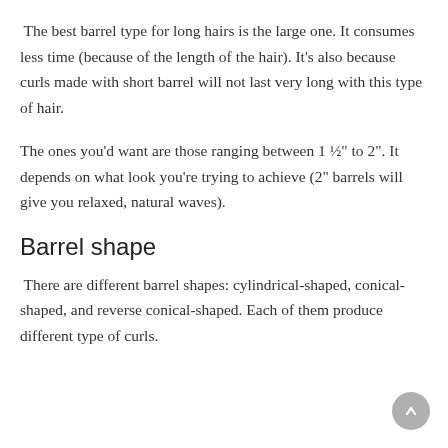The best barrel type for long hairs is the large one. It consumes less time (because of the length of the hair). It's also because curls made with short barrel will not last very long with this type of hair.
The ones you'd want are those ranging between 1 ½" to 2". It depends on what look you're trying to achieve (2" barrels will give you relaxed, natural waves).
Barrel shape
There are different barrel shapes: cylindrical-shaped, conical-shaped, and reverse conical-shaped. Each of them produce different type of curls.